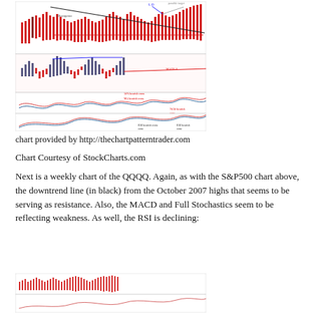[Figure (continuous-plot): Weekly stock chart showing price bars, MACD, Full Stochastics, and RSI indicators with downtrend lines, annotations including 'LD', 'Divergence', and 'possible target' marked on chart from StockCharts.com]
chart provided by http://thechartpatterntrader.com
Chart Courtesy of StockCharts.com
Next is a weekly chart of the QQQQ. Again, as with the S&P500 chart above, the downtrend line (in black) from the October 2007 highs that seems to be serving as resistance. Also, the MACD and Full Stochastics seem to be reflecting weakness. As well, the RSI is declining:
[Figure (continuous-plot): Weekly chart of QQQQ showing price and technical indicators, partially visible at bottom of page]